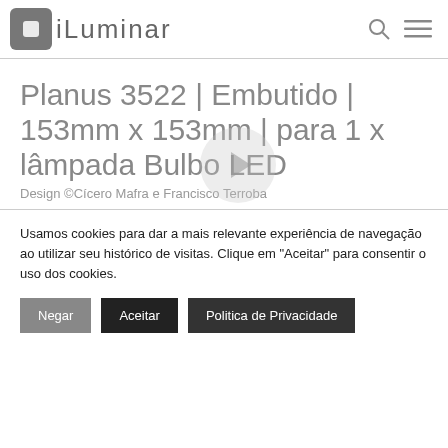iLuminar
Planus 3522 | Embutido | 153mm x 153mm | para 1 x lâmpada Bulbo LED
Design ©Cícero Mafra e Francisco Terroba
Usamos cookies para dar a mais relevante experiência de navegação ao utilizar seu histórico de visitas. Clique em ''Aceitar'' para consentir o uso dos cookies.
Negar
Aceitar
Politica de Privacidade